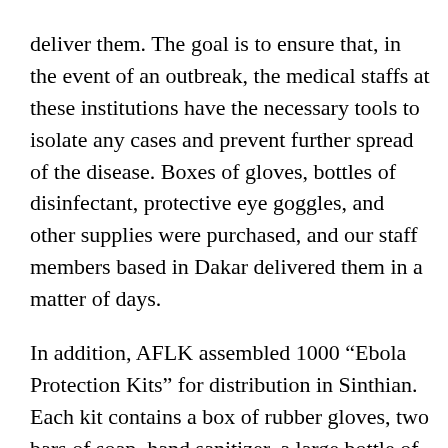deliver them. The goal is to ensure that, in the event of an outbreak, the medical staffs at these institutions have the necessary tools to isolate any cases and prevent further spread of the disease. Boxes of gloves, bottles of disinfectant, protective eye goggles, and other supplies were purchased, and our staff members based in Dakar delivered them in a matter of days.
In addition, AFLK assembled 1000 “Ebola Protection Kits” for distribution in Sinthian. Each kit contains a box of rubber gloves, two bars of soap, hand sanitizer, a large bottle of bleach, a bag that can be sealed to dispose of contaminated items, and a poster teaching villagers how to recognize the symptoms and stop the spread of Ebola. All items are stored in